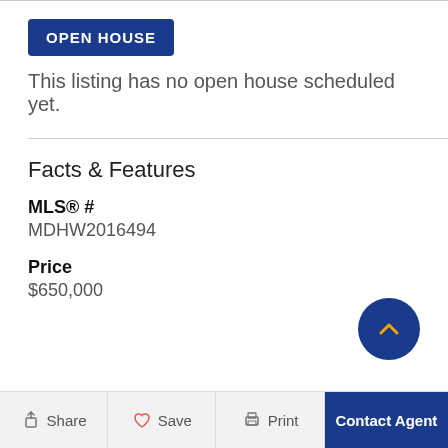OPEN HOUSE
This listing has no open house scheduled yet.
Facts & Features
MLS® #
MDHW2016494
Price
$650,000
Share   Save   Print   Contact Agent